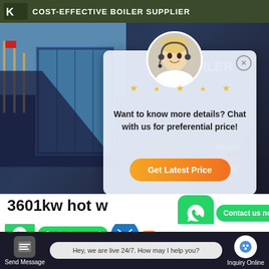COST-EFFECTIVE BOILER SUPPLIER
[Figure (screenshot): Website screenshot showing a boiler supplier page with a building exterior photo, a chat popup overlay with a customer service representative asking 'Want to know more details? Chat with us for preferential price!' and a 'Get Latest Price' button, plus WhatsApp contact buttons and a live chat footer bar with message 'Hey, we are live 24/7. How may I help you?']
Want to know more details? Chat with us for preferential price!
Get Latest Price
3601kw hot w...
Contact us now!
Contact us now!
Hey, we are live 24/7. How may I help you?
Send Message
Inquiry Online
Email
Contact
Boiler